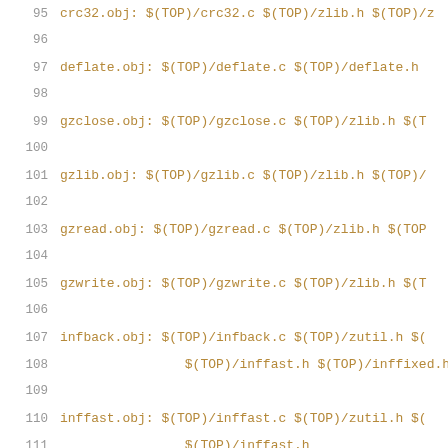95  crc32.obj: $(TOP)/crc32.c $(TOP)/zlib.h $(TOP)/...
96
97  deflate.obj: $(TOP)/deflate.c $(TOP)/deflate.h
98
99  gzclose.obj: $(TOP)/gzclose.c $(TOP)/zlib.h $(T...
100
101  gzlib.obj: $(TOP)/gzlib.c $(TOP)/zlib.h $(TOP)/...
102
103  gzread.obj: $(TOP)/gzread.c $(TOP)/zlib.h $(TOP...
104
105  gzwrite.obj: $(TOP)/gzwrite.c $(TOP)/zlib.h $(T...
106
107  infback.obj: $(TOP)/infback.c $(TOP)/zutil.h $(T...
108              $(TOP)/inffast.h $(TOP)/inffixed.h
109
110  inffast.obj: $(TOP)/inffast.c $(TOP)/zutil.h $(T...
111              $(TOP)/inffast.h
112
113  inflate.obj: $(TOP)/inflate.c $(TOP)/zutil.h $(T...
114              $(TOP)/inffast.h $(TOP)/inffixed.h
115
116  inftrees.obj: $(TOP)/inftrees.c $(TOP)/zutil.h